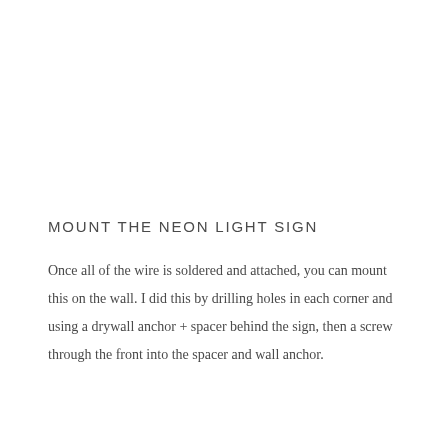MOUNT THE NEON LIGHT SIGN
Once all of the wire is soldered and attached, you can mount this on the wall. I did this by drilling holes in each corner and using a drywall anchor + spacer behind the sign, then a screw through the front into the spacer and wall anchor.